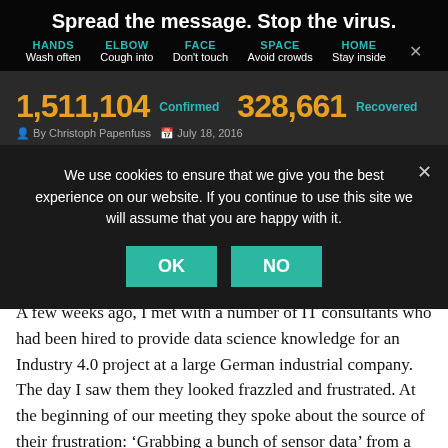Spread the message. Stop the virus.
HANDS Wash often
ELBOW Cough into
FACE Don't touch
SPACE Avoid crowds
HOME Stay inside
1,511,104 Confirmed  328,661 Recovered
By Christoph Papenfuss  July 18, 2016
We use cookies to ensure that we give you the best experience on our website. If you continue to use this site we will assume that you are happy with it.
A few weeks ago, I met with a number of IT consultants who had been hired to provide data science knowledge for an Industry 4.0 project at a large German industrial company. The day I saw them they looked frazzled and frustrated. At the beginning of our meeting they spoke about the source of their frustration: ‘Grabbing a bunch of sensor data’ from a turbine had turned out to be a